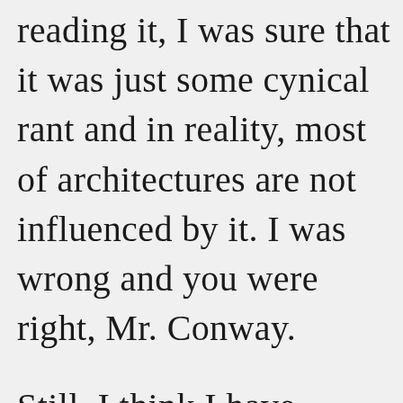reading it, I was sure that it was just some cynical rant and in reality, most of architectures are not influenced by it. I was wrong and you were right, Mr. Conway.

Still, I think I have noticed yet another non-CS factor influencing architectures – unrelated to politics and organizational charts.